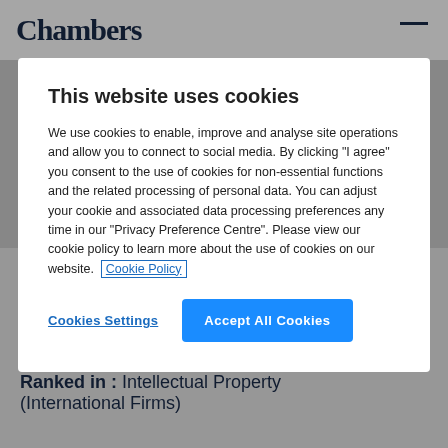Chambers
This website uses cookies
We use cookies to enable, improve and analyse site operations and allow you to connect to social media. By clicking "I agree" you consent to the use of cookies for non-essential functions and the related processing of personal data. You can adjust your cookie and associated data processing preferences any time in our "Privacy Preference Centre". Please view our cookie policy to learn more about the use of cookies on our website. Cookie Policy
Cookies Settings
Accept All Cookies
Ai-Leen Lim
Hong Kong, China • Global Guide 2022 • Ranked in 1 departments
Ranked in : Intellectual Property (International Firms)